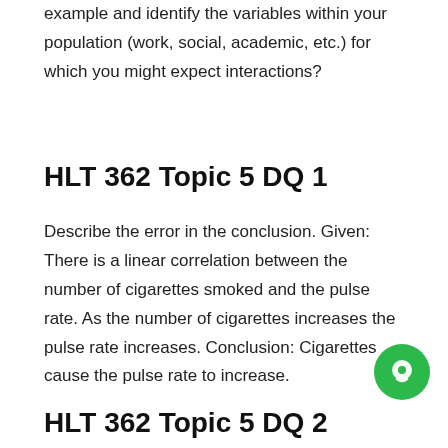example and identify the variables within your population (work, social, academic, etc.) for which you might expect interactions?
HLT 362 Topic 5 DQ 1
Describe the error in the conclusion. Given: There is a linear correlation between the number of cigarettes smoked and the pulse rate. As the number of cigarettes increases the pulse rate increases. Conclusion: Cigarettes cause the pulse rate to increase.
HLT 362 Topic 5 DQ 2